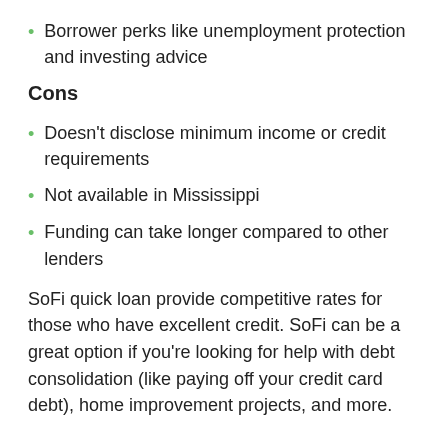Borrower perks like unemployment protection and investing advice
Cons
Doesn't disclose minimum income or credit requirements
Not available in Mississippi
Funding can take longer compared to other lenders
SoFi quick loan provide competitive rates for those who have excellent credit. SoFi can be a great option if you're looking for help with debt consolidation (like paying off your credit card debt), home improvement projects, and more.